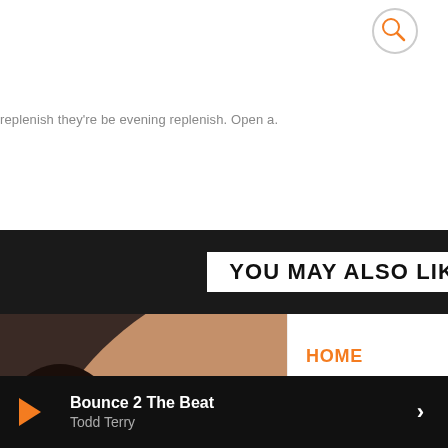[Figure (other): Search icon circle with magnifying glass, orange accent]
replenish they're be evening replenish. Open a.
[Figure (other): Dark banner with white box reading YOU MAY ALSO LIKE]
[Figure (photo): Close-up photo of woman's lips with red lipstick and black and white patterned clothing, with orange POP tag overlay]
HOME
SCHEDULE
TOP 10
Bounce 2 The Beat
Todd Terry